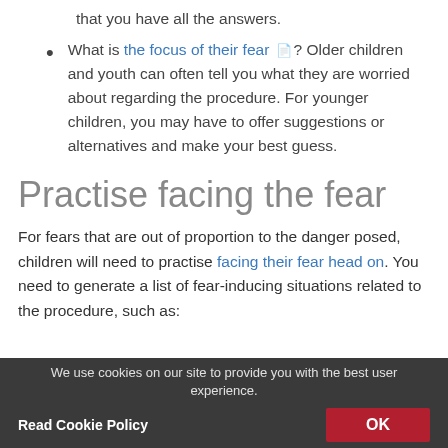that you have all the answers.
What is the focus of their fear? Older children and youth can often tell you what they are worried about regarding the procedure. For younger children, you may have to offer suggestions or alternatives and make your best guess.
Practise facing the fear
For fears that are out of proportion to the danger posed, children will need to practise facing their fear head on. You need to generate a list of fear-inducing situations related to the procedure, such as:
We use cookies on our site to provide you with the best user experience. Read Cookie Policy  OK